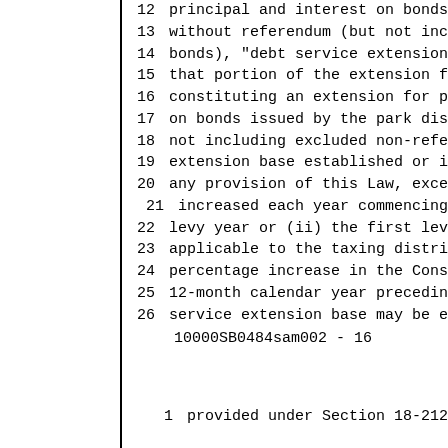12  principal and interest on bonds
13  without referendum (but not inc
14  bonds), "debt service extension
15  that portion of the extension f
16  constituting an extension for p
17  on bonds issued by the park dis
18  not including excluded non-refe
19  extension base established or i
20  any provision of this Law, exce
21  increased each year commencing
22  levy year or (ii) the first lev
23  applicable to the taxing distri
24  percentage increase in the Cons
25  12-month calendar year precedin
26  service extension base may be e
10000SB0484sam002          - 16
1   provided under Section 18-212